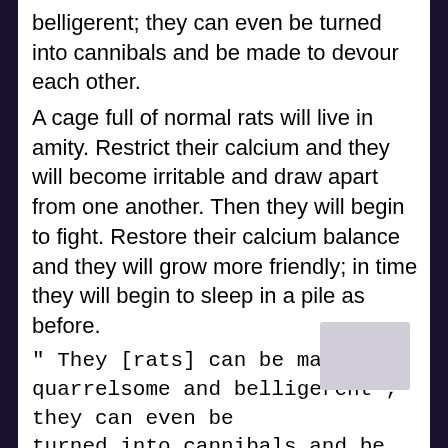belligerent; they can even be turned into cannibals and be made to devour each other.
A cage full of normal rats will live in amity. Restrict their calcium and they will become irritable and draw apart from one another. Then they will begin to fight. Restore their calcium balance and they will grow more friendly; in time they will begin to sleep in a pile as before.
" They [rats] can be made quarrelsome and belligerent ; they can even be turned into cannibals and be made to devour each other.....
Restore their calcium balance and they will grow more friendly; in time they will begin